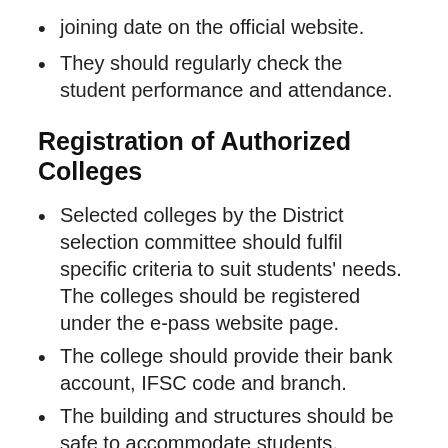joining date on the official website.
They should regularly check the student performance and attendance.
Registration of Authorized Colleges
Selected colleges by the District selection committee should fulfil specific criteria to suit students' needs. The colleges should be registered under the e-pass website page.
The college should provide their bank account, IFSC code and branch.
The building and structures should be safe to accommodate students.
It should provide basic amenities and